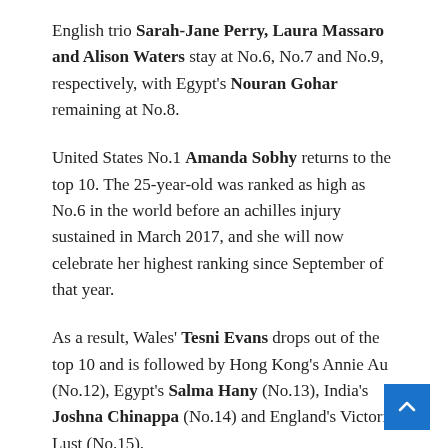English trio Sarah-Jane Perry, Laura Massaro and Alison Waters stay at No.6, No.7 and No.9, respectively, with Egypt's Nouran Gohar remaining at No.8.
United States No.1 Amanda Sobhy returns to the top 10. The 25-year-old was ranked as high as No.6 in the world before an achilles injury sustained in March 2017, and she will now celebrate her highest ranking since September of that year.
As a result, Wales' Tesni Evans drops out of the top 10 and is followed by Hong Kong's Annie Au (No.12), Egypt's Salma Hany (No.13), India's Joshna Chinappa (No.14) and England's Victoria Lust (No.15).